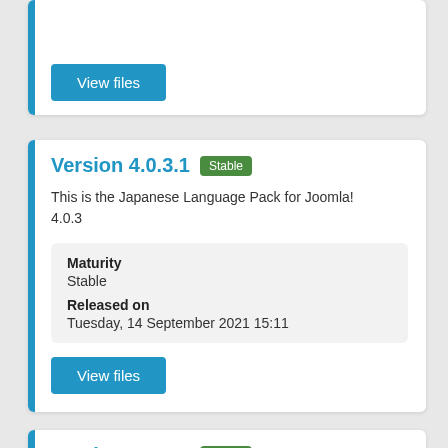View files
Version 4.0.3.1 Stable
This is the Japanese Language Pack for Joomla! 4.0.3
| Field | Value |
| --- | --- |
| Maturity | Stable |
| Released on | Tuesday, 14 September 2021 15:11 |
View files
Version 4.0.3.1